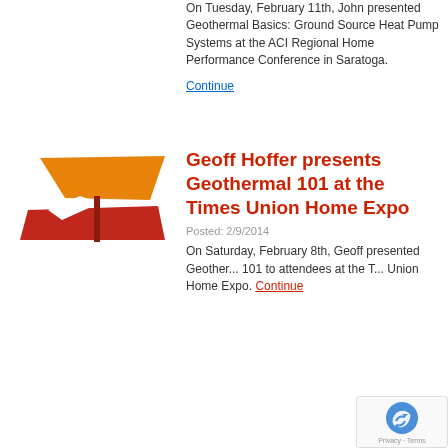On Tuesday, February 11th, John presented Geothermal Basics: Ground Source Heat Pump Systems at the ACI Regional Home Performance Conference in Saratoga. Continue
[Figure (logo): Geothermal company logo with orange and red abstract shapes on white background]
Geoff Hoffer presents Geothermal 101 at the Times Union Home Expo
Posted: 2/9/2014
On Saturday, February 8th, Geoff presented Geothermal 101 to attendees at the Times Union Home Expo. Continue